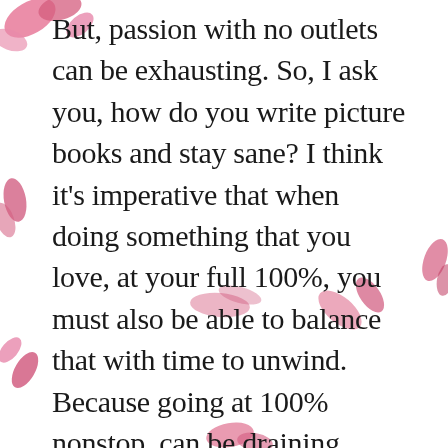But, passion with no outlets can be exhausting. So, I ask you, how do you write picture books and stay sane? I think it's imperative that when doing something that you love, at your full 100%, you must also be able to balance that with time to unwind. Because going at 100% nonstop, can be draining. Eventually, you will overload. And when that time comes, you
[Figure (illustration): Decorative pink rose petals scattered around the page borders]